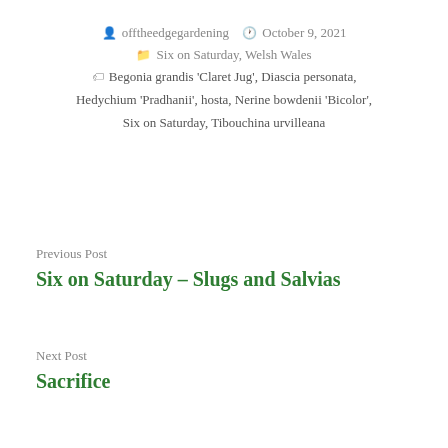offtheedgegardening   October 9, 2021
Six on Saturday, Welsh Wales
Begonia grandis 'Claret Jug', Diascia personata, Hedychium 'Pradhanii', hosta, Nerine bowdenii 'Bicolor', Six on Saturday, Tibouchina urvilleana
Previous Post
Six on Saturday – Slugs and Salvias
Next Post
Sacrifice